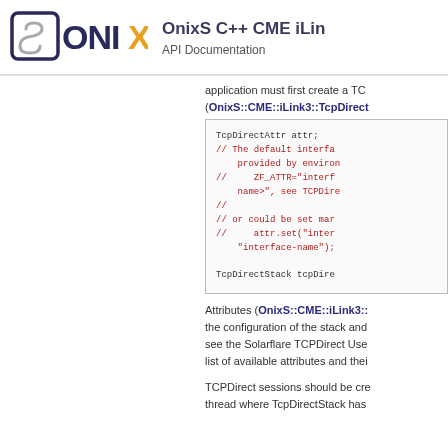OnixS C++ CME iLink API Documentation
application must first create a TcpDirectAttr (OnixS::CME::iLink3::TcpDirect
[Figure (screenshot): Code block showing C++ code: TcpDirectAttr attr; with comments about default interface provided by environment ZF_ATTR, and TcpDirectStack tcpDire...]
Attributes (OnixS::CME::iLink3:: the configuration of the stack and see the Solarflare TCPDirect User list of available attributes and thei
TCPDirect sessions should be cre thread where TcpDirectStack has